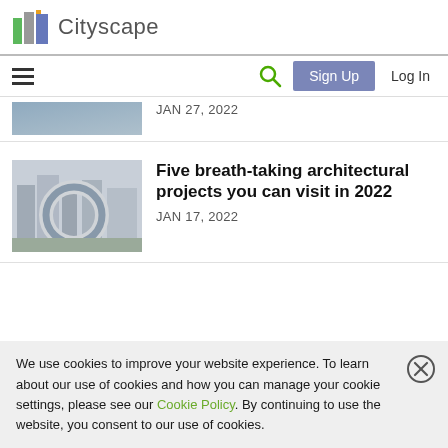Cityscape
JAN 27, 2022
Five breath-taking architectural projects you can visit in 2022
JAN 17, 2022
We use cookies to improve your website experience. To learn about our use of cookies and how you can manage your cookie settings, please see our Cookie Policy. By continuing to use the website, you consent to our use of cookies.